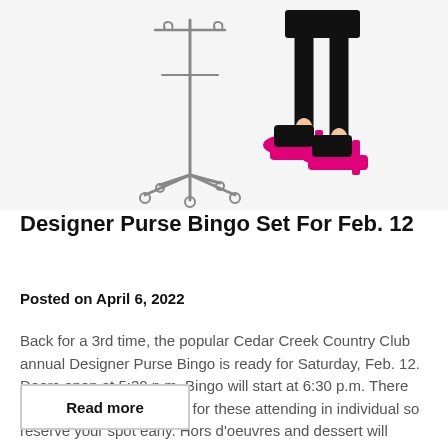[Figure (illustration): Two illustrations side by side: a silver IV-stand/coat rack on wheels on the left, and a cartoon woman's legs wearing pink high-heel shoes with a black skirt on the right, on a light gray background.]
Designer Purse Bingo Set For Feb. 12
Posted on April 6, 2022
Back for a 3rd time, the popular Cedar Creek Country Club annual Designer Purse Bingo is ready for Saturday, Feb. 12. Doors open at 5:30 p.m. Bingo will start at 6:30 p.m. There will be a limited capability for these attending in individual so reserve your spot early. Hors d'oeuvres and dessert will probably be…
Read more